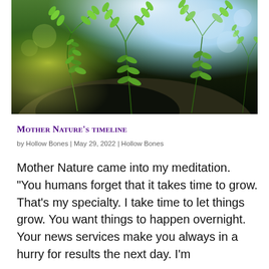[Figure (photo): Close-up macro photograph of small green fern leaves growing from dark soil, with a blurred blue and green bokeh background]
Mother Nature's timeline
by Hollow Bones | May 29, 2022 | Hollow Bones
Mother Nature came into my meditation. “You humans forget that it takes time to grow. That’s my specialty. I take time to let things grow. You want things to happen overnight. Your news services make you always in a hurry for results the next day. I’m